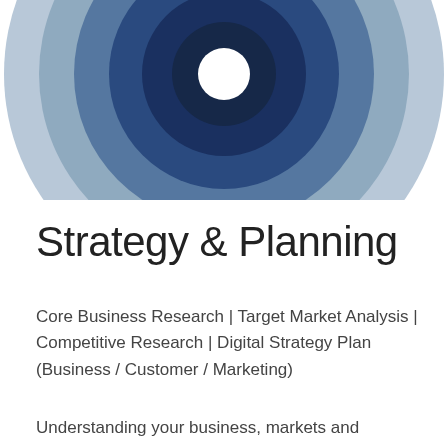[Figure (illustration): Concentric circles in shades of blue (outermost light blue-grey, progressing through medium blue, dark blue, to a white center at the top), partially cropped at the top of the page — resembling a target or bullseye graphic.]
Strategy & Planning
Core Business Research  |  Target Market Analysis  |  Competitive Research  |  Digital Strategy Plan (Business / Customer / Marketing)
Understanding your business, markets and